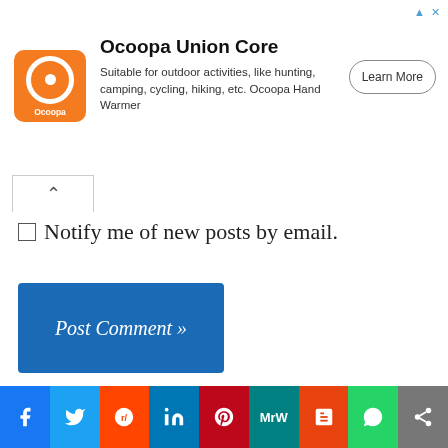[Figure (other): Ocoopa Union Core advertisement banner with orange logo, text description, and Learn More button]
Notify me of new posts by email.
Post Comment »
Subjects
Scott Family Stories
Thassos Island, Greece
Facebook | Twitter | Reddit | LinkedIn | Pinterest | MeWe | Mix | WhatsApp | Share